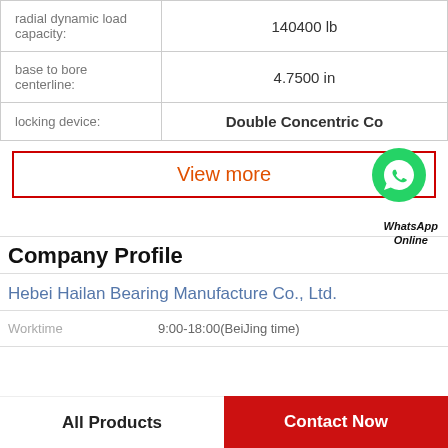| Property | Value |
| --- | --- |
| radial dynamic load capacity: | 140400 lb |
| base to bore centerline: | 4.7500 in |
| locking device: | Double Concentric Co |
[Figure (other): View more button with WhatsApp icon and label]
Company Profile
Hebei Hailan Bearing Manufacture Co., Ltd.
Worktime   9:00-18:00(BeiJing time)
All Products   Contact Now